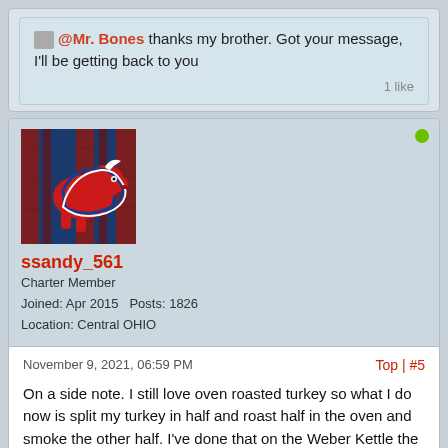@Mr. Bones thanks my brother. Got your message, I'll be getting back to you
1 like
[Figure (illustration): Buffalo Bills NFL team logo on a wood-paneled blue and red background, used as forum avatar for user ssandy_561]
ssandy_561
Charter Member
Joined: Apr 2015   Posts: 1826
Location: Central OHIO
November 9, 2021, 06:59 PM
Top | #5
On a side note. I still love oven roasted turkey so what I do now is split my turkey in half and roast half in the oven and smoke the other half. I've done that on the Weber Kettle the past few years but now with the Grilla OG in my arsenal, I'll be smoking half of it on the OG this year.